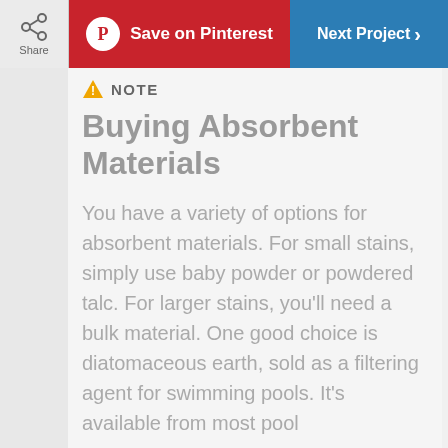Share | Save on Pinterest | Next Project
NOTE
Buying Absorbent Materials
You have a variety of options for absorbent materials. For small stains, simply use baby powder or powdered talc. For larger stains, you'll need a bulk material. One good choice is diatomaceous earth, sold as a filtering agent for swimming pools. It's available from most pool